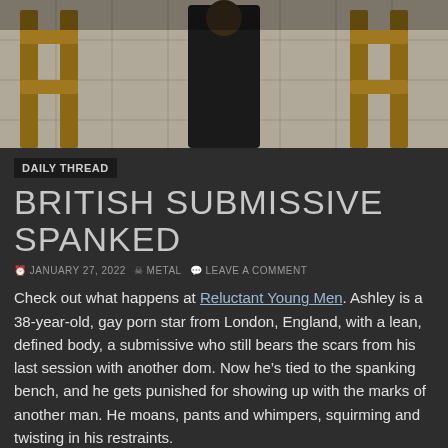[Figure (photo): A person dressed in black standing in front of wooden structures in a tiled room]
DAILY THREAD
BRITISH SUBMISSIVE SPANKED
JANUARY 27, 2022  METAL  LEAVE A COMMENT
Check out what happens at Reluctant Young Men. Ashley is a 38-year-old, gay porn star from London, England, with a lean, defined body, a submissive who still bears the scars from his last session with another dom. Now he’s tied to the spanking bench, and he gets punished for showing up with the marks of another man. He moans, pants and whimpers, squirming and twisting in his restraints.